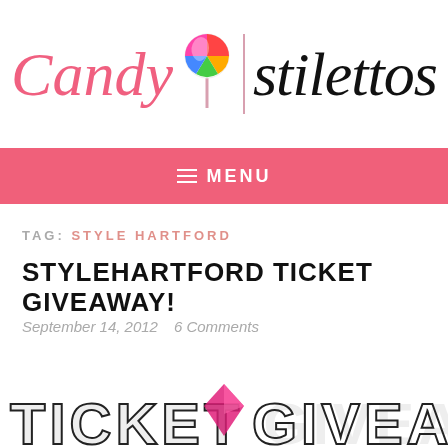[Figure (logo): Candy & Stilettos blog logo with pink cursive 'Candy' text, colorful lollipop icon, vertical divider line, and script 'stilettos' text]
≡ MENU
TAG: STYLE HARTFORD
STYLEHARTFORD TICKET GIVEAWAY!
September 14, 2012   6 Comments
[Figure (photo): Partial image showing a decorative ticket giveaway graphic with marquee-style lettering and a pink/magenta gemstone or crystal decoration]